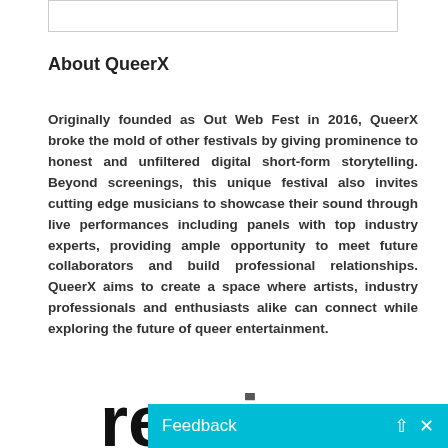[Figure (other): White box/input field at top of page]
About QueerX
Originally founded as Out Web Fest in 2016, QueerX broke the mold of other festivals by giving prominence to honest and unfiltered digital short-form storytelling. Beyond screenings, this unique festival also invites cutting edge musicians to showcase their sound through live performances including panels with top industry experts, providing ample opportunity to meet future collaborators and build professional relationships. QueerX aims to create a space where artists, industry professionals and enthusiasts alike can connect while exploring the future of queer entertainment.
[Figure (logo): Partial logo text visible at bottom — large black letters 're' and partial letters]
[Figure (other): Cyan/teal Feedback bar at bottom with Feedback label and up arrow and X icons]